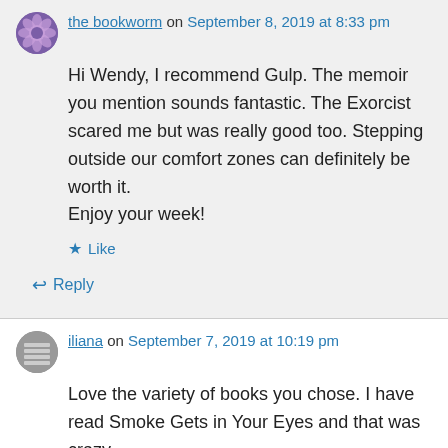the bookworm on September 8, 2019 at 8:33 pm
Hi Wendy, I recommend Gulp. The memoir you mention sounds fantastic. The Exorcist scared me but was really good too. Stepping outside our comfort zones can definitely be worth it.
Enjoy your week!
Like
Reply
iliana on September 7, 2019 at 10:19 pm
Love the variety of books you chose. I have read Smoke Gets in Your Eyes and that was crazy ... It's very an interesting read though...